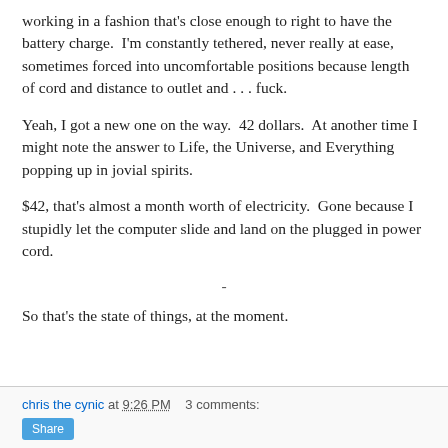working in a fashion that's close enough to right to have the battery charge.  I'm constantly tethered, never really at ease, sometimes forced into uncomfortable positions because length of cord and distance to outlet and . . . fuck.
Yeah, I got a new one on the way.  42 dollars.  At another time I might note the answer to Life, the Universe, and Everything popping up in jovial spirits.
$42, that's almost a month worth of electricity.  Gone because I stupidly let the computer slide and land on the plugged in power cord.
-
So that's the state of things, at the moment.
chris the cynic at 9:26 PM   3 comments: